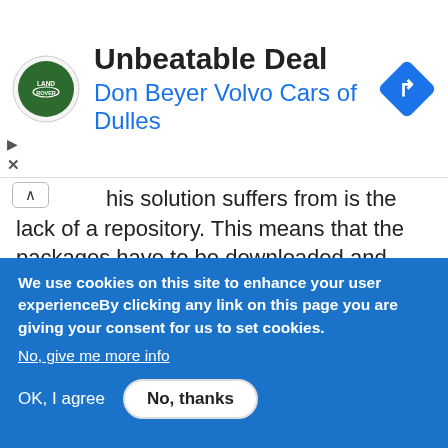[Figure (other): Advertisement banner for Don Beyer Volvo Cars of Dulles featuring Land Rover logo, text 'Unbeatable Deal' and 'Don Beyer Volvo Cars of Dulles', and a blue navigation/directions diamond icon.]
his solution suffers from is the lack of a repository. This means that the packages have to be downloaded and installed manually. Also, if you install them directly via the dpkg -i command, there may be unmet dependencies if you have not installed PHP 5.3 previously. This can be overcome by running the gdebi command instead, available in the "gdebi-core" package.

Still, the previous approach is too manual, and there is no way to check automatically for security updates for example.
We use cookies on this site to enhance your user experienceBy clicking any link on this page you are giving your consent for us to set cookies.
No, give me more info
OK, I agree
No, thanks